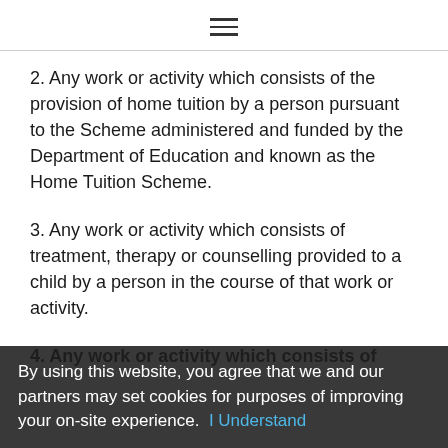≡
2. Any work or activity which consists of the provision of home tuition by a person pursuant to the Scheme administered and funded by the Department of Education and known as the Home Tuition Scheme.
3. Any work or activity which consists of treatment, therapy or counselling provided to a child by a person in the course of that work or activity.
4. Any work or activity which consists of the supervision or care of a child...
By using this website, you agree that we and our partners may set cookies for purposes of improving your on-site experience. I Understand